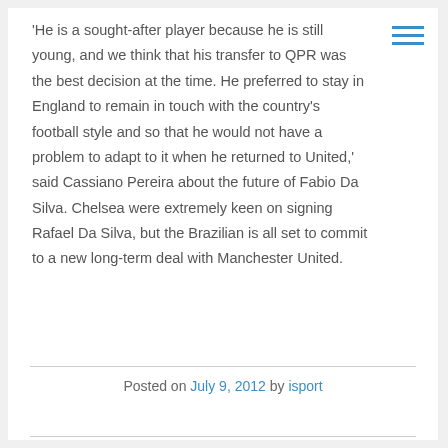'He is a sought-after player because he is still young, and we think that his transfer to QPR was the best decision at the time. He preferred to stay in England to remain in touch with the country's football style and so that he would not have a problem to adapt to it when he returned to United,' said Cassiano Pereira about the future of Fabio Da Silva. Chelsea were extremely keen on signing Rafael Da Silva, but the Brazilian is all set to commit to a new long-term deal with Manchester United.
Posted on July 9, 2012 by isport